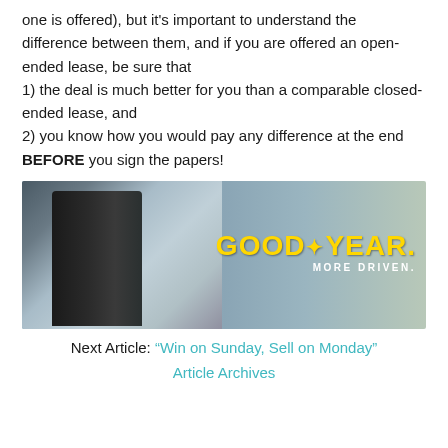one is offered), but it's important to understand the difference between them, and if you are offered an open-ended lease, be sure that
1) the deal is much better for you than a comparable closed-ended lease, and
2) you know how you would pay any difference at the end BEFORE you sign the papers!
[Figure (photo): Goodyear advertisement showing a car tire and car body with the Goodyear logo and tagline 'MORE DRIVEN.' on a blurred road background]
Next Article: “Win on Sunday, Sell on Monday”
Article Archives